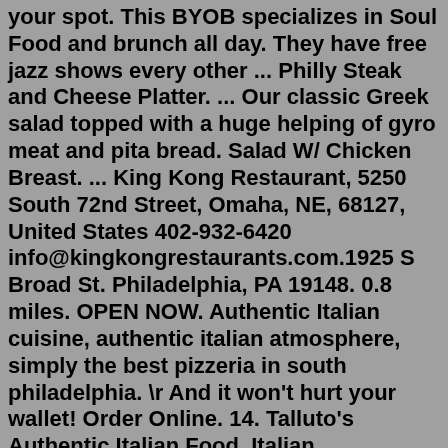your spot. This BYOB specializes in Soul Food and brunch all day. They have free jazz shows every other ... Philly Steak and Cheese Platter. ... Our classic Greek salad topped with a huge helping of gyro meat and pita bread. Salad W/ Chicken Breast. ... King Kong Restaurant, 5250 South 72nd Street, Omaha, NE, 68127, United States 402-932-6420 info@kingkongrestaurants.com.1925 S Broad St. Philadelphia, PA 19148. 0.8 miles. OPEN NOW. Authentic Italian cuisine, authentic italian atmosphere, simply the best pizzeria in south philadelphia. \r And it won't hurt your wallet! Order Online. 14. Talluto's Authentic Italian Food. Italian Restaurants Pasta Restaurants.The Baked Potato. 3787 Cahuenga Blvd., Studio City; 818-980-1615; www.thebakedpotato.com. There's nothing overly zany on the menu at The Baked Potato, where there's been nightly jazz served up ...Rivers Casino Philadelphia Restaurant - Top Online Slots Casinos for 2022 #1 guide to playing real money slots online. Discover the best slot machine games, types, jackpots,